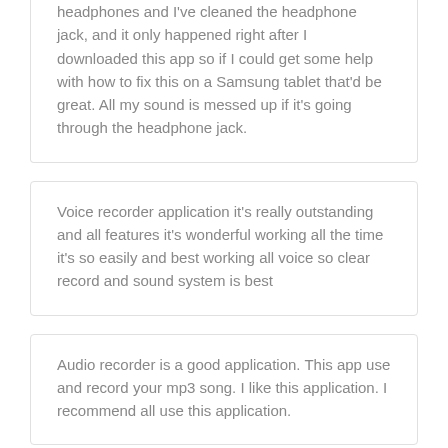headphones and I've cleaned the headphone jack, and it only happened right after I downloaded this app so if I could get some help with how to fix this on a Samsung tablet that'd be great. All my sound is messed up if it's going through the headphone jack.
Voice recorder application it's really outstanding and all features it's wonderful working all the time it's so easily and best working all voice so clear record and sound system is best
Audio recorder is a good application. This app use and record your mp3 song. I like this application. I recommend all use this application.
This is well working audio recorder application that is helpful